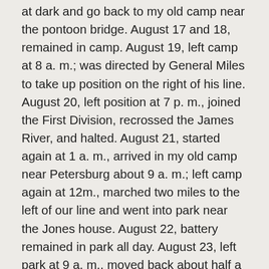at dark and go back to my old camp near the pontoon bridge. August 17 and 18, remained in camp. August 19, left camp at 8 a. m.; was directed by General Miles to take up position on the right of his line. August 20, left position at 7 p. m., joined the First Division, recrossed the James River, and halted. August 21, started again at 1 a. m., arrived in my old camp near Petersburg about 9 a. m.; left camp again at 12m., marched two miles to the left of our line and went into park near the Jones house. August 22, battery remained in park all day. August 23, left park at 9 a. m., moved back about half a mile and went into camp near Artillery Brigade headquarters. August 24, moved to the front about half a mile and went into position. August 25, remained in the same position. August 26, was directed by Lieutenant Eddy, acting assistant adjutant-general, to move the battery to the left and